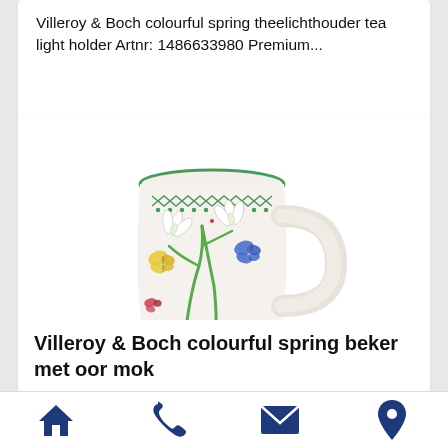Villeroy & Boch colourful spring theelichthouder tea light holder Artnr: 1486633980 Premium...
[Figure (photo): Ceramic mug with spring floral design featuring snowdrops, butterflies, and green lattice border at the top, with a handle on the right side. Villeroy & Boch colourful spring collection.]
Villeroy & Boch colourful spring beker met oor mok
[Figure (infographic): Footer navigation bar with four icons: house/home icon, phone icon, envelope/mail icon, and map pin/location icon, all in dark navy blue color.]